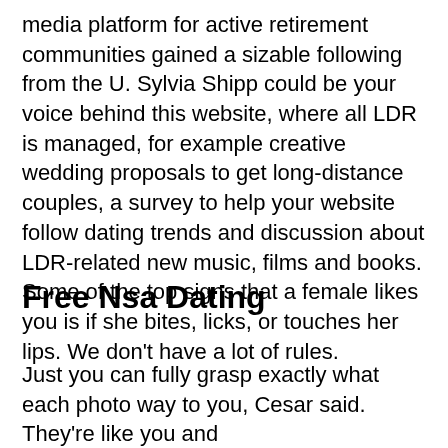media platform for active retirement communities gained a sizable following from the U. Sylvia Shipp could be your voice behind this website, where all LDR is managed, for example creative wedding proposals to get long-distance couples, a survey to help your website follow dating trends and discussion about LDR-related new music, films and books. Some of the top signs that a female likes you is if she bites, licks, or touches her lips. We don't have a lot of rules.
Free Nsa Dating
Just you can fully grasp exactly what each photo way to you, Cesar said. They're like you and